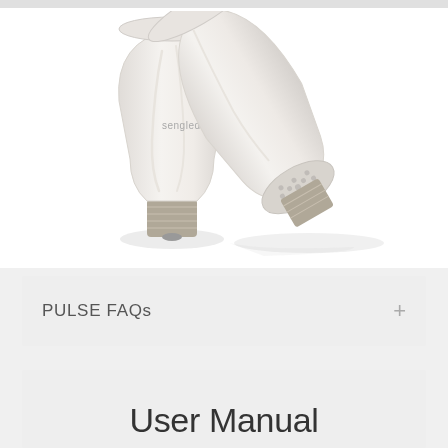[Figure (photo): Two Sengled Pulse LED speaker bulbs — one standing upright showing the lamp top and screw base with 'sengled' branding, one lying on its side showing the speaker grille on the bottom — on a white background with subtle reflections]
PULSE FAQs
User Manual